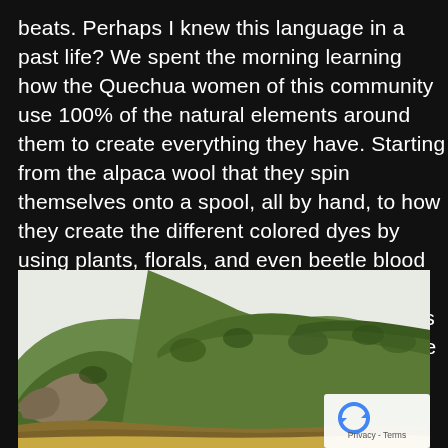beats. Perhaps I knew this language in a past life? We spent the morning learning how the Quechua women of this community use 100% of the natural elements around them to create everything they have. Starting from the alpaca wool that they spin themselves onto a spool, all by hand, to how they create the different colored dyes by using plants, florals, and even beetle blood (seriously)! This an ancient art form, perfected and still going strong in the Andes Mountains by these wonderful women in the Willoq village in the Sacred Valley.
[Figure (photo): A photo of steep green Andean mountain hillsides covered in lush vegetation with a pale overcast sky above. Rocky outcroppings are visible on the left side of the image. A reCAPTCHA privacy badge appears in the lower right corner with a recycling-arrow icon and 'Privacy - Terms' text.]